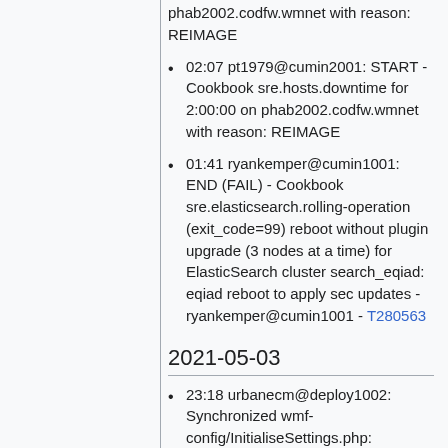phab2002.codfw.wmnet with reason: REIMAGE
02:07 pt1979@cumin2001: START - Cookbook sre.hosts.downtime for 2:00:00 on phab2002.codfw.wmnet with reason: REIMAGE
01:41 ryankemper@cumin1001: END (FAIL) - Cookbook sre.elasticsearch.rolling-operation (exit_code=99) reboot without plugin upgrade (3 nodes at a time) for ElasticSearch cluster search_eqiad: eqiad reboot to apply sec updates - ryankemper@cumin1001 - T280563
2021-05-03
23:18 urbanecm@deploy1002: Synchronized wmf-config/InitialiseSettings.php: